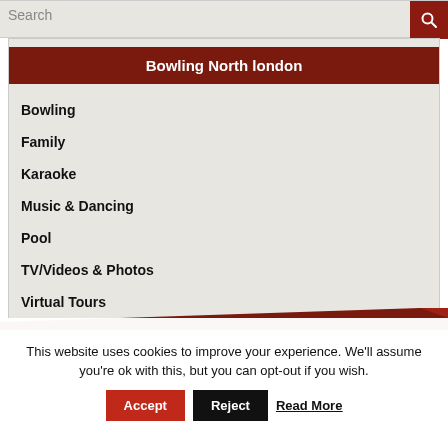Search
Bowling North london
Bowling
Family
Karaoke
Music & Dancing
Pool
TV/Videos & Photos
Virtual Tours
This website uses cookies to improve your experience. We'll assume you're ok with this, but you can opt-out if you wish.
Accept
Reject
Read More